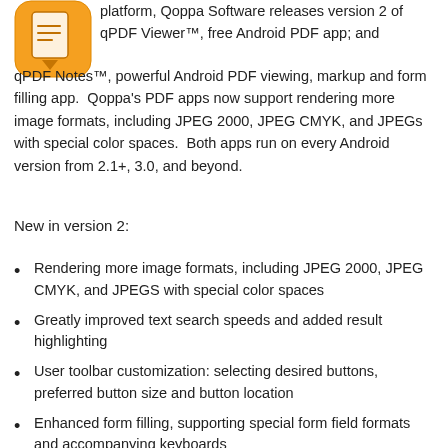[Figure (logo): Orange rounded square app icon with a stylized arrow/document logo (Qoppa PDF app icon)]
platform, Qoppa Software releases version 2 of qPDF Viewer™, free Android PDF app; and qPDF Notes™, powerful Android PDF viewing, markup and form filling app.  Qoppa's PDF apps now support rendering more image formats, including JPEG 2000, JPEG CMYK, and JPEGs with special color spaces.  Both apps run on every Android version from 2.1+, 3.0, and beyond.
New in version 2:
Rendering more image formats, including JPEG 2000, JPEG CMYK, and JPEGS with special color spaces
Greatly improved text search speeds and added result highlighting
User toolbar customization: selecting desired buttons, preferred button size and button location
Enhanced form filling, supporting special form field formats and accompanying keyboards